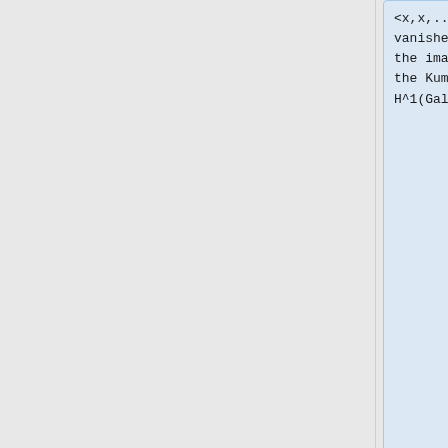<x,x,..x,1-x,x,...x> vanishes, where x denotes the image of x in k* under the Kummer map k* -> H^1(Gal(kbar/k), Z_l(1)).
+
===<span id="Negrut"></span>March 8: Dan Negrut (UW-Mechanical Engineering)